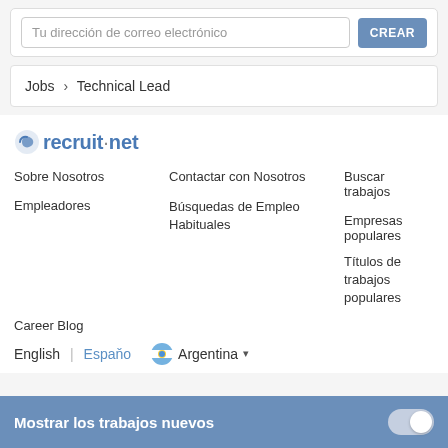Tu dirección de correo electrónico
CREAR
Jobs › Technical Lead
[Figure (logo): recruit.net logo with stylized icon in blue/grey]
Sobre Nosotros
Contactar con Nosotros
Buscar trabajos
Empleadores
Búsquedas de Empleo Habituales
Empresas populares
Títulos de trabajos populares
Career Blog
English | Español    🇦🇷 Argentina ▾
Mostrar los trabajos nuevos